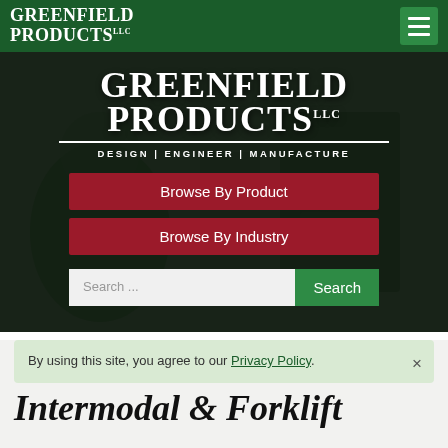Greenfield Products LLC
[Figure (screenshot): Greenfield Products LLC website hero section with dark background showing a worker. Contains large logo text 'GREENFIELD PRODUCTS LLC', tagline 'DESIGN | ENGINEER | MANUFACTURE', two red buttons labeled 'Browse By Product' and 'Browse By Industry', and a search bar with 'Search ...' placeholder and green 'Search' button.]
By using this site, you agree to our Privacy Policy.
Intermodal & Forklift